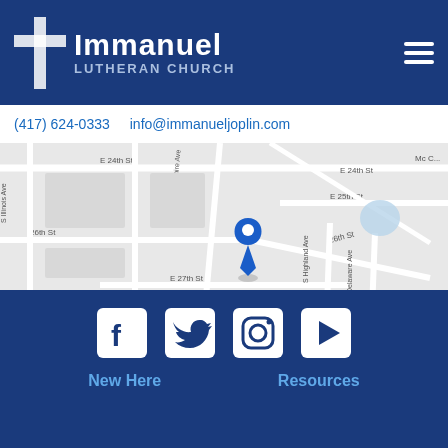Immanuel Lutheran Church
(417) 624-0333   info@immanueljoplin.com
[Figure (map): Google map showing location of Immanuel Lutheran Church in Joplin, MO area with streets including E 24th St, E 25th St, 26th St, E 27th St, E 28th St, S Illinois Ave, Kansas Ave, New Hampshire Ave, S Highland Ave, Delaware Ave. Blue map pin marks the church location near 26th St and New Hampshire Ave. Map data ©2022.]
[Figure (infographic): Social media icons row: Facebook, Twitter, Instagram, YouTube (play button)]
New Here
Resources